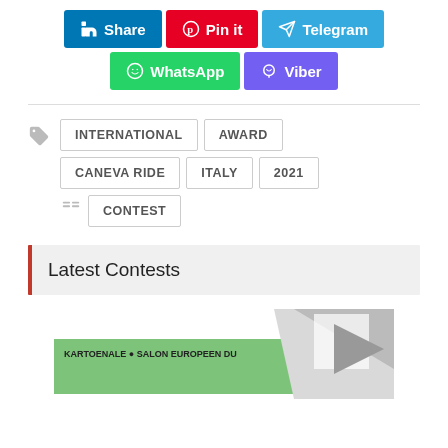[Figure (other): Social share buttons: LinkedIn Share, Pinterest Pin it, Telegram, WhatsApp, Viber]
INTERNATIONAL
AWARD
CANEVA RIDE
ITALY
2021
CONTEST
Latest Contests
[Figure (other): Partial image of a contest logo/flyer at bottom of page with text: KARTOENALE SALON EUROPEEN DU]